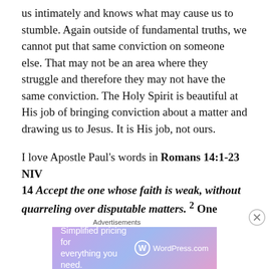us intimately and knows what may cause us to stumble. Again outside of fundamental truths, we cannot put that same conviction on someone else. That may not be an area where they struggle and therefore they may not have the same conviction. The Holy Spirit is beautiful at His job of bringing conviction about a matter and drawing us to Jesus. It is His job, not ours.
I love Apostle Paul's words in Romans 14:1-23  NIV 14 Accept the one whose faith is weak, without quarreling over disputable matters. 2 One person's faith allows them to eat anything, but another, whose faith is weak, eats only vegetables. 3 The one who eats everything must not treat with contempt the one who
Advertisements
[Figure (other): WordPress.com advertisement banner: 'Simplified pricing for everything you need.' with WordPress.com logo on gradient pink-blue background]